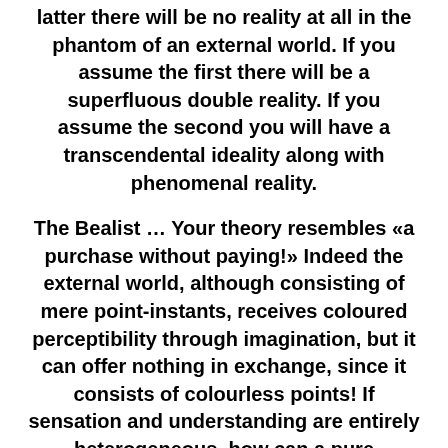latter there will be no reality at all in the phantom of an external world. If you assume the first there will be a superfluous double reality. If you assume the second you will have a transcendental ideality along with phenomenal reality.

The Bealist … Your theory resembles «a purchase without paying!» Indeed the external world, although consisting of mere point-instants, receives coloured perceptibility through imagination, but it can offer nothing in exchange, since it consists of colourless points! If sensation and understanding are entirely heterogeneous, how can a pure sensation be comprehended under a pure concept of the understanding, «as no one is likely to say that causality, for instance, could be seen through the senses?"